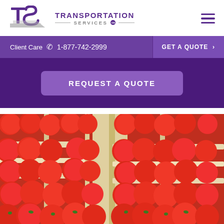Transportation Services logo and hamburger menu
Client Care  1-877-742-2999   GET A QUOTE >
REQUEST A QUOTE
[Figure (photo): Wooden crates filled with fresh red tomatoes arranged side by side]